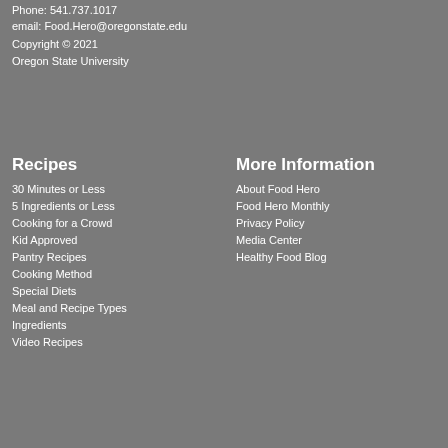Phone: 541.737.1017
email: Food.Hero@oregonstate.edu
Copyright © 2021
Oregon State University
Recipes
30 Minutes or Less
5 Ingredients or Less
Cooking for a Crowd
Kid Approved
Pantry Recipes
Cooking Method
Special Diets
Meal and Recipe Types
Ingredients
Video Recipes
More Information
About Food Hero
Food Hero Monthly
Privacy Policy
Media Center
Healthy Food Blog